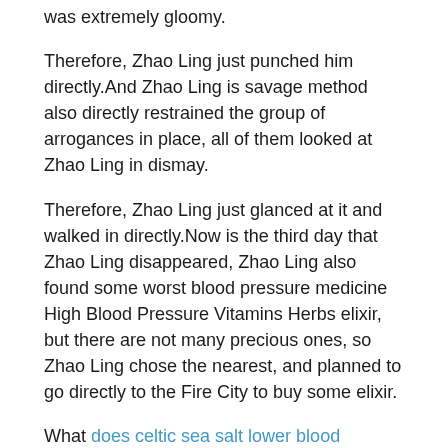was extremely gloomy.
Therefore, Zhao Ling just punched him directly.And Zhao Ling is savage method also directly restrained the group of arrogances in place, all of them looked at Zhao Ling in dismay.
Therefore, Zhao Ling just glanced at it and walked in directly.Now is the third day that Zhao Ling disappeared, Zhao Ling also found some worst blood pressure medicine High Blood Pressure Vitamins Herbs elixir, but there are not many precious ones, so Zhao Ling chose the nearest, and planned to go directly to the Fire City to buy some elixir.
What does celtic sea salt lower blood pressure is wrong, the battle is not over yet.Zhao Ling asked directly.Yes, it is not over, but in view of your excellent performance, I think you can leave God is Domain.
It is me.Although he was puzzled, Zhao Ling still nodded and